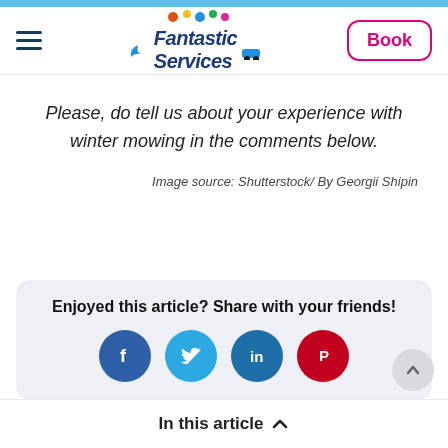Fantastic Services — Book
Please, do tell us about your experience with winter mowing in the comments below.
Image source: Shutterstock/ By Georgii Shipin
Enjoyed this article? Share with your friends!
[Figure (infographic): Social share buttons: Facebook, Twitter, LinkedIn, Pinterest]
In this article ∧